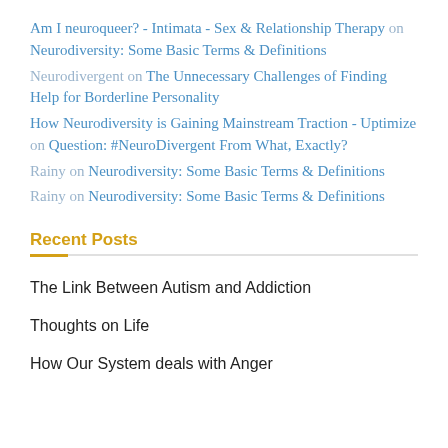Am I neuroqueer? - Intimata - Sex & Relationship Therapy on Neurodiversity: Some Basic Terms & Definitions
Neurodivergent on The Unnecessary Challenges of Finding Help for Borderline Personality
How Neurodiversity is Gaining Mainstream Traction - Uptimize on Question: #NeuroDivergent From What, Exactly?
Rainy on Neurodiversity: Some Basic Terms & Definitions
Rainy on Neurodiversity: Some Basic Terms & Definitions
Recent Posts
The Link Between Autism and Addiction
Thoughts on Life
How Our System deals with Anger